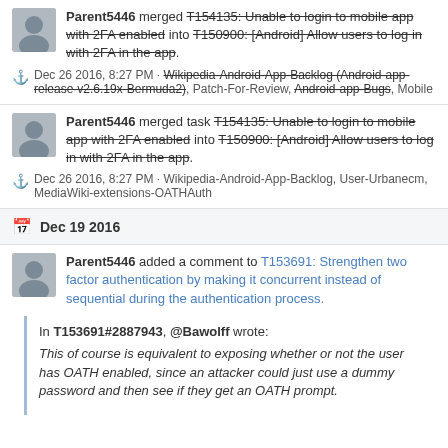Parent5446 merged T154135: Unable to login to mobile app with 2FA enabled into T150900: [Android] Allow users to log in with 2FA in the app.
Dec 26 2016, 8:27 PM · Wikipedia-Android-App-Backlog (Android-app-release-v2.6.19x-Bermuda2), Patch-For-Review, Android-app-Bugs, Mobile
Parent5446 merged task T154135: Unable to login to mobile app with 2FA enabled into T150900: [Android] Allow users to log in with 2FA in the app.
Dec 26 2016, 8:27 PM · Wikipedia-Android-App-Backlog, User-Urbanecm, MediaWiki-extensions-OATHAuth
Dec 19 2016
Parent5446 added a comment to T153691: Strengthen two factor authentication by making it concurrent instead of sequential during the authentication process.
In T153691#2887943, @Bawolff wrote:
This of course is equivalent to exposing whether or not the user has OATH enabled, since an attacker could just use a dummy password and then see if they get an OATH prompt.